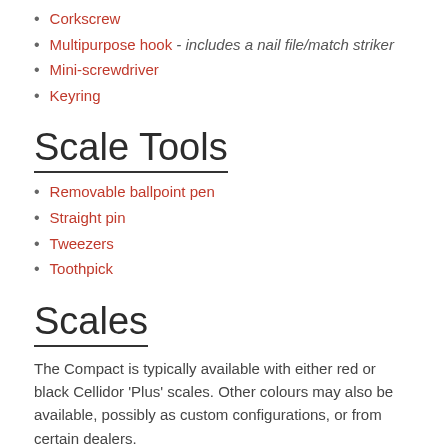Corkscrew
Multipurpose hook - includes a nail file/match striker
Mini-screwdriver
Keyring
Scale Tools
Removable ballpoint pen
Straight pin
Tweezers
Toothpick
Scales
The Compact is typically available with either red or black Cellidor 'Plus' scales. Other colours may also be available, possibly as custom configurations, or from certain dealers.
History
The direct ancestor of the modern Compact appears to have been the smaller 84mm Golfer, (the first model to bear the name 'Golfer'), which had the same features as the Compact, except for the hook